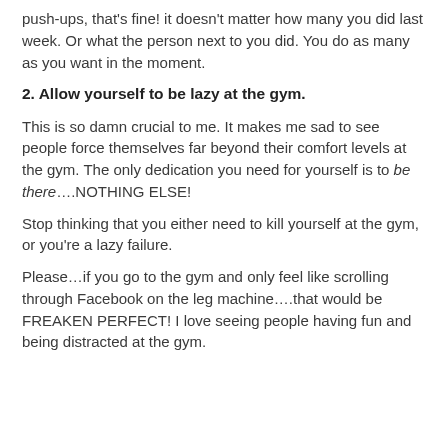push-ups, that's fine! it doesn't matter how many you did last week. Or what the person next to you did. You do as many as you want in the moment.
2. Allow yourself to be lazy at the gym.
This is so damn crucial to me. It makes me sad to see people force themselves far beyond their comfort levels at the gym. The only dedication you need for yourself is to be there….NOTHING ELSE!
Stop thinking that you either need to kill yourself at the gym, or you're a lazy failure.
Please…if you go to the gym and only feel like scrolling through Facebook on the leg machine….that would be FREAKEN PERFECT! I love seeing people having fun and being distracted at the gym.